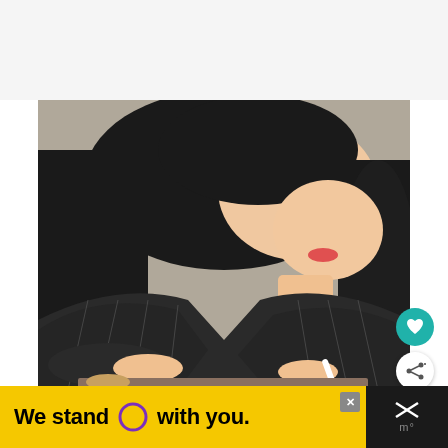[Figure (photo): A young woman with long dark hair wearing a dark pinstripe blazer, looking down and writing with a stylus on a tablet/device. She is photographed from mid-chest up. A white circular heart button and a share button overlay the bottom-right of the image.]
We stand O with you.